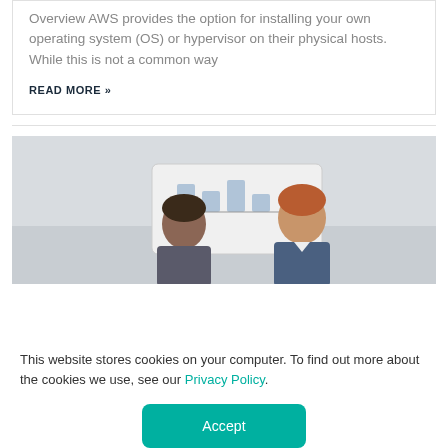Overview AWS provides the option for installing your own operating system (OS) or hypervisor on their physical hosts.  While this is not a common way
READ MORE »
[Figure (photo): Two people viewed from behind, looking at a whiteboard with diagrams, in an office setting with a light grey background.]
This website stores cookies on your computer. To find out more about the cookies we use, see our Privacy Policy.
Accept